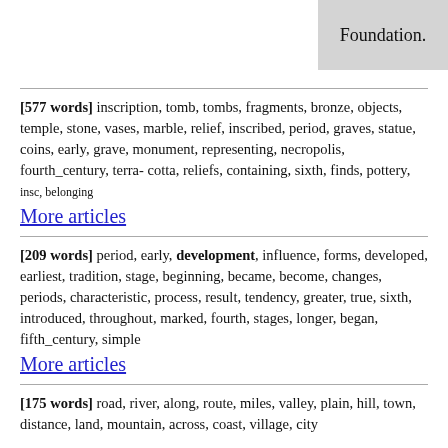Foundation.
[577 words] inscription, tomb, tombs, fragments, bronze, objects, temple, stone, vases, marble, relief, inscribed, period, graves, statue, coins, early, grave, monument, representing, necropolis, fourth_century, terra-cotta, reliefs, containing, sixth, finds, pottery, insc, belonging
More articles
[209 words] period, early, development, influence, forms, developed, earliest, tradition, stage, beginning, became, become, changes, periods, characteristic, process, result, tendency, greater, true, sixth, introduced, throughout, marked, fourth, stages, longer, began, fifth_century, simple
More articles
[175 words] road, river, along, route, miles, valley, plain, hill, town, distance, land, mountain, across, coast, village, city